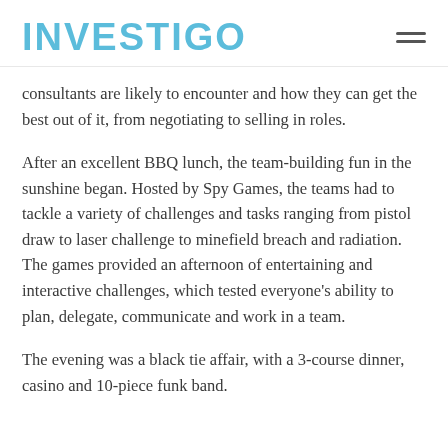INVESTIGO
consultants are likely to encounter and how they can get the best out of it, from negotiating to selling in roles.
After an excellent BBQ lunch, the team-building fun in the sunshine began. Hosted by Spy Games, the teams had to tackle a variety of challenges and tasks ranging from pistol draw to laser challenge to minefield breach and radiation. The games provided an afternoon of entertaining and interactive challenges, which tested everyone’s ability to plan, delegate, communicate and work in a team.
The evening was a black tie affair, with a 3-course dinner, casino and 10-piece funk band.